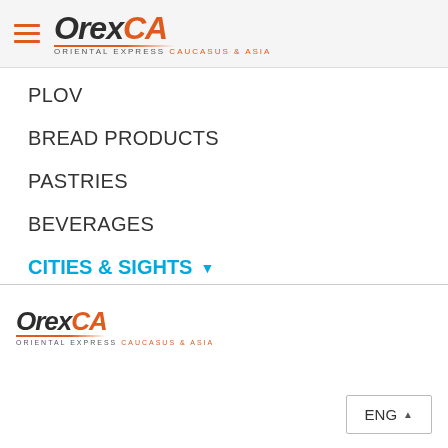OrexCA - Oriental Express Caucasus & Asia
PLOV
BREAD PRODUCTS
PASTRIES
BEVERAGES
CITIES & SIGHTS
[Figure (logo): OrexCA logo with text 'Oriental Express Caucasus & Asia' and social media icons (Facebook, Instagram) in footer]
OrexCA.com © 2003-2022. All rights reserved.